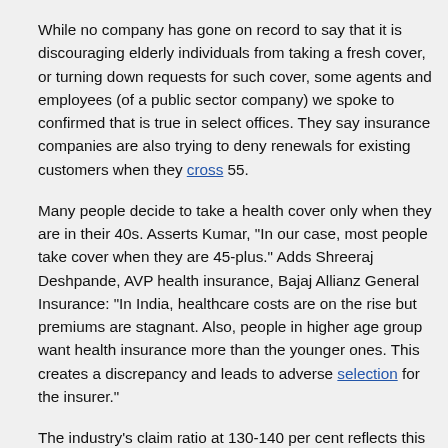While no company has gone on record to say that it is discouraging elderly individuals from taking a fresh cover, or turning down requests for such cover, some agents and employees (of a public sector company) we spoke to confirmed that is true in select offices. They say insurance companies are also trying to deny renewals for existing customers when they cross 55.
Many people decide to take a health cover only when they are in their 40s. Asserts Kumar, "In our case, most people take cover when they are 45-plus." Adds Shreeraj Deshpande, AVP health insurance, Bajaj Allianz General Insurance: "In India, healthcare costs are on the rise but premiums are stagnant. Also, people in higher age group want health insurance more than the younger ones. This creates a discrepancy and leads to adverse selection for the insurer."
The industry's claim ratio at 130-140 per cent reflects this imbalance. For private insurance companies though, the young: old ratio is better placed at around 60:40.
However, a majority of them are yet to break-even in their health cover portfolio. Since insurance works on large number theory (pooling of risk) and given that